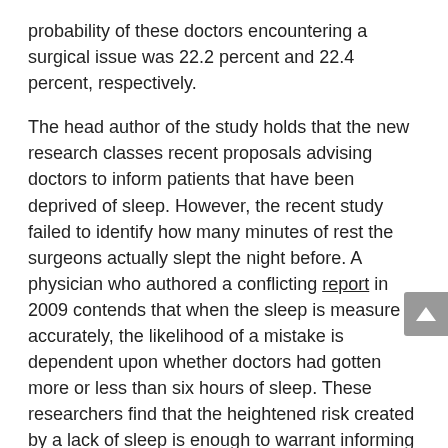probability of these doctors encountering a surgical issue was 22.2 percent and 22.4 percent, respectively.
The head author of the study holds that the new research classes recent proposals advising doctors to inform patients that have been deprived of sleep. However, the recent study failed to identify how many minutes of rest the surgeons actually slept the night before. A physician who authored a conflicting report in 2009 contends that when the sleep is measure accurately, the likelihood of a mistake is dependent upon whether doctors had gotten more or less than six hours of sleep. These researchers find that the heightened risk created by a lack of sleep is enough to warrant informing patients anytime their surgeon has been working overnights or consecutive shifts.
The most recent study involved around 39,000 cases from over 1,400 surgeons working at 147 hospitals local to Ontario. The study is also being considered as of...